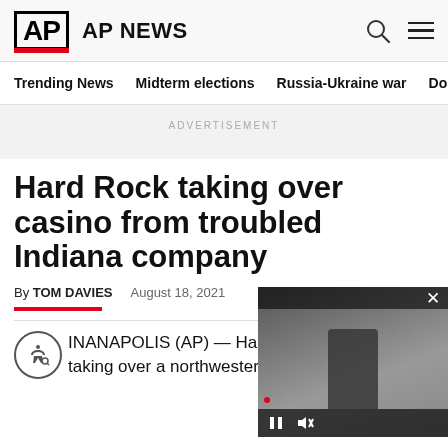AP NEWS
Trending News   Midterm elections   Russia-Ukraine war   Dona
ADVERTISEMENT
Hard Rock taking over casino from troubled Indiana company
By TOM DAVIES   August 18, 2021
INDIANAPOLIS (AP) — Hard Roc taking over a northwestern Indian